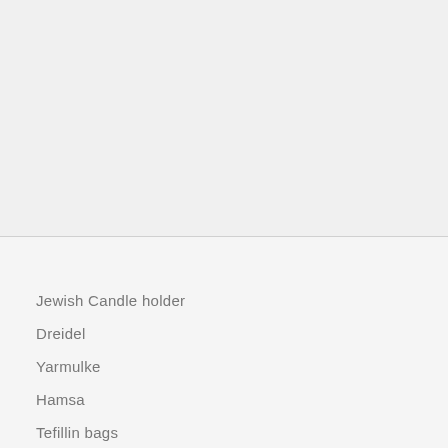[Figure (other): Empty gray placeholder area in the top half of the page]
Jewish Candle holder
Dreidel
Yarmulke
Hamsa
Tefillin bags